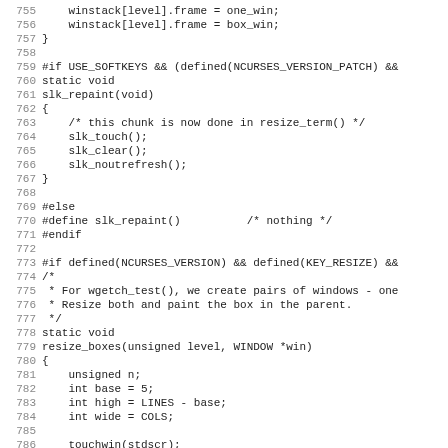Source code listing, lines 755-787, C programming language showing ncurses window resize and slk_repaint functionality.